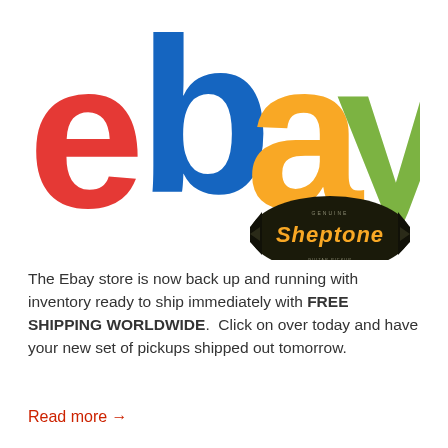[Figure (logo): eBay logo with colorful letters (red 'e', blue 'b', yellow 'a', green 'y') and a Sheptone badge in the lower right]
The Ebay store is now back up and running with inventory ready to ship immediately with FREE SHIPPING WORLDWIDE.  Click on over today and have your new set of pickups shipped out tomorrow.
Read more →